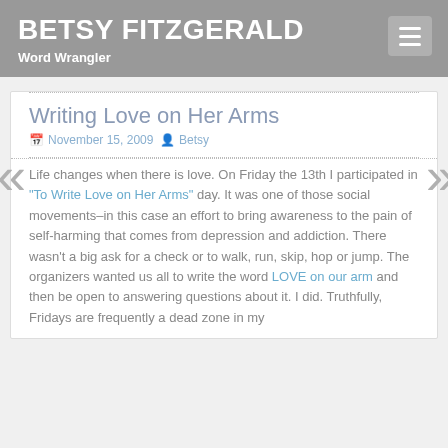BETSY FITZGERALD
Word Wrangler
Writing Love on Her Arms
November 15, 2009  Betsy
Life changes when there is love. On Friday the 13th I participated in "To Write Love on Her Arms" day. It was one of those social movements–in this case an effort to bring awareness to the pain of self-harming that comes from depression and addiction. There wasn't a big ask for a check or to walk, run, skip, hop or jump. The organizers wanted us all to write the word LOVE on our arm and then be open to answering questions about it. I did. Truthfully, Fridays are frequently a dead zone in my